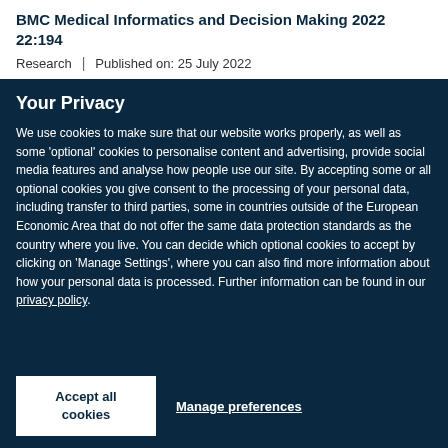BMC Medical Informatics and Decision Making 2022 22:194
Research | Published on: 25 July 2022
Your Privacy
We use cookies to make sure that our website works properly, as well as some 'optional' cookies to personalise content and advertising, provide social media features and analyse how people use our site. By accepting some or all optional cookies you give consent to the processing of your personal data, including transfer to third parties, some in countries outside of the European Economic Area that do not offer the same data protection standards as the country where you live. You can decide which optional cookies to accept by clicking on 'Manage Settings', where you can also find more information about how your personal data is processed. Further information can be found in our privacy policy.
Accept all cookies
Manage preferences